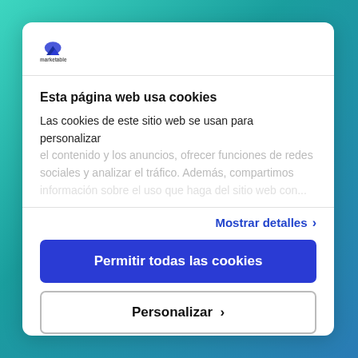[Figure (logo): Marketable logo with mountain/cloud icon and text 'marketable']
Esta página web usa cookies
Las cookies de este sitio web se usan para personalizar el contenido y los anuncios, ofrecer funciones de redes sociales y analizar el tráfico. Además, compartimos...
Mostrar detalles >
Permitir todas las cookies
Personalizar >
Powered by Cookiebot by Usercentrics